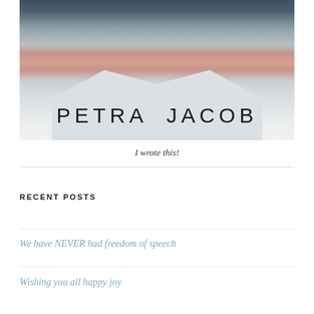[Figure (photo): Photo of a man wearing a light grey v-neck t-shirt with the text 'PETRA JACOB' printed across the chest in large uppercase spaced letters. Background shows dark water or rocks. Only the neck and torso are clearly visible.]
I wrote this!
RECENT POSTS
We have NEVER had freedom of speech
Wishing you all happy joy